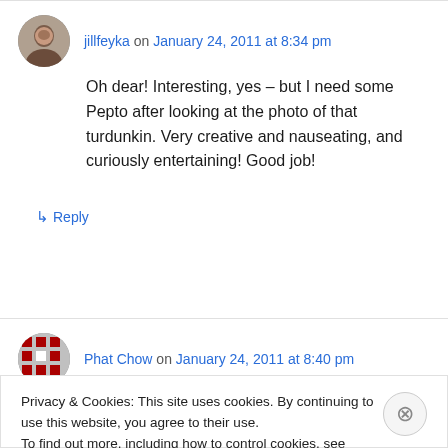jillfeyka on January 24, 2011 at 8:34 pm
Oh dear! Interesting, yes – but I need some Pepto after looking at the photo of that turdunkin. Very creative and nauseating, and curiously entertaining! Good job!
↳ Reply
Phat Chow on January 24, 2011 at 8:40 pm
Privacy & Cookies: This site uses cookies. By continuing to use this website, you agree to their use.
To find out more, including how to control cookies, see here: Cookie Policy
Close and accept